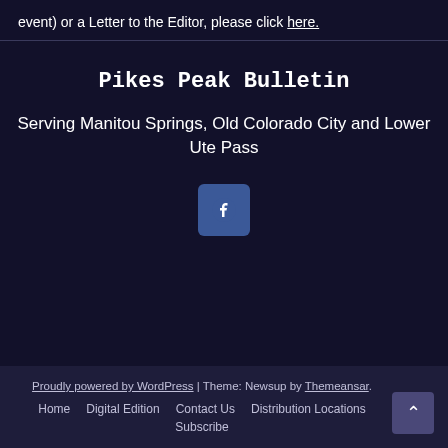event) or a Letter to the Editor, please click here.
Pikes Peak Bulletin
Serving Manitou Springs, Old Colorado City and Lower Ute Pass
[Figure (logo): Facebook icon button (blue rounded square with white 'f' logo)]
Proudly powered by WordPress | Theme: Newsup by Themeansar. Home  Digital Edition  Contact Us  Distribution Locations  Subscribe